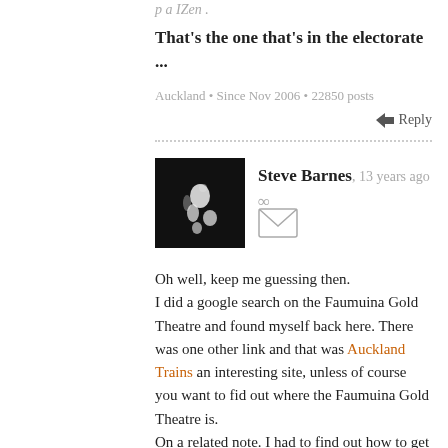p a IZen .
That's the one that's in the electorate ...
Auckland • Since Nov 2006 • 22850 posts
Reply
Steve Barnes, 13 years ago ∞
Oh well, keep me guessing then.
I did a google search on the Faumuina Gold Theatre and found myself back here. There was one other link and that was Auckland Trains an interesting site, unless of course you want to fid out where the Faumuina Gold Theatre is.
On a related note. I had to find out how to get to Rotorua without driving yesterday so I went online and did a search of trains buses ships and planes etc. My gob was well and truly smacked by the lack of information. It seems that you can't just jump on a bus, you have to book and then hang around outside Sky City. There are no trains.
I was informed by the loverly Barbara at, well I'm